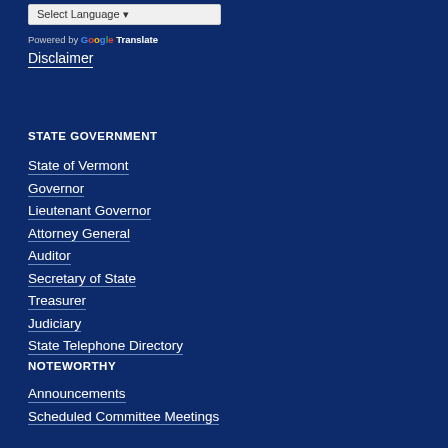Select Language (dropdown)
Powered by Google Translate
Disclaimer
STATE GOVERNMENT
State of Vermont
Governor
Lieutenant Governor
Attorney General
Auditor
Secretary of State
Treasurer
Judiciary
State Telephone Directory
NOTEWORTHY
Announcements
Scheduled Committee Meetings